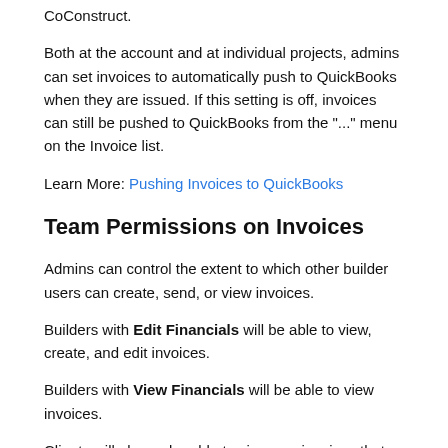CoConstruct.
Both at the account and at individual projects, admins can set invoices to automatically push to QuickBooks when they are issued. If this setting is off, invoices can still be pushed to QuickBooks from the "..." menu on the Invoice list.
Learn More: Pushing Invoices to QuickBooks
Team Permissions on Invoices
Admins can control the extent to which other builder users can create, send, or view invoices.
Builders with Edit Financials will be able to view, create, and edit invoices.
Builders with View Financials will be able to view invoices.
Clients will always be able to view any invoices that were issued on their projects, including invoices that were voided after being